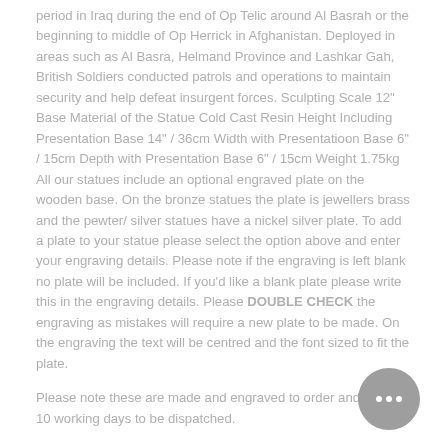period in Iraq during the end of Op Telic around Al Basrah or the beginning to middle of Op Herrick in Afghanistan. Deployed in areas such as Al Basra, Helmand Province and Lashkar Gah, British Soldiers conducted patrols and operations to maintain security and help defeat insurgent forces. Sculpting Scale 12" Base Material of the Statue Cold Cast Resin Height Including Presentation Base 14" / 36cm Width with Presentatioon Base 6" / 15cm Depth with Presentation Base 6" / 15cm Weight 1.75kg All our statues include an optional engraved plate on the wooden base. On the bronze statues the plate is jewellers brass and the pewter/ silver statues have a nickel silver plate. To add a plate to your statue please select the option above and enter your engraving details. Please note if the engraving is left blank no plate will be included. If you'd like a blank plate please write this in the engraving details. Please DOUBLE CHECK the engraving as mistakes will require a new plate to be made. On the engraving the text will be centred and the font sized to fit the plate.
Please note these are made and engraved to order and will take 10 working days to be dispatched.